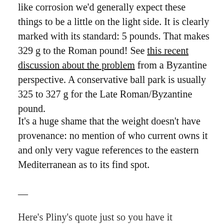like corrosion we'd generally expect these things to be a little on the light side.  It is clearly marked with its standard: 5 pounds.  That makes 329 g to the Roman pound!  See this recent discussion about the problem from a Byzantine perspective.  A conservative ball park is usually 325 to 327 g for the Late Roman/Byzantine pound.
It's a huge shame that the weight doesn't have provenance: no mention of who current owns it and only very vague references to the eastern Mediterranean as to its find spot.
—
Here's Pliny's quote just so you have it